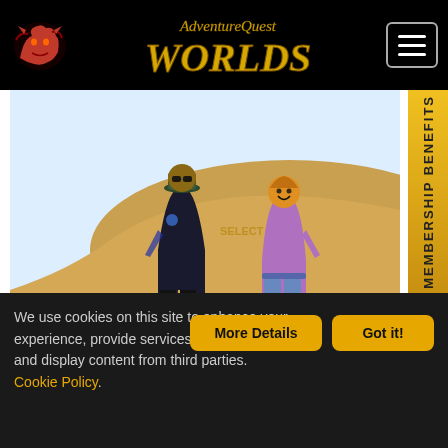AdventureQuest Worlds
[Figure (screenshot): Two game characters standing in a snowy/desert area with brown rabbit-like creatures at their feet. One character wears a dark outfit and bucket hat, the other wears a purple shirt and jeans. Background shows a sandy dune area.]
Leaving Next Monday
Pick-up these touchdown items! The Half-Time shop and Punt Twilly minigame leaves next Monday. So if
We use cookies on this site to enhance your experience, provide services and products, and display content from third parties. Cookie Policy.